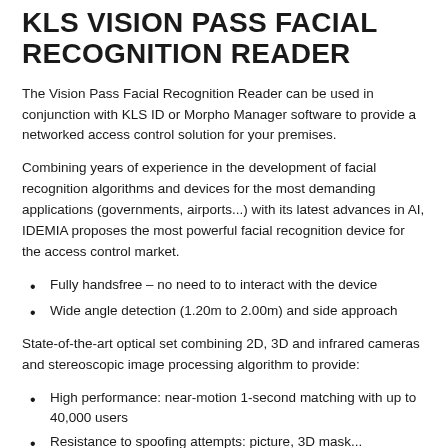KLS VISION PASS FACIAL RECOGNITION READER
The Vision Pass Facial Recognition Reader can be used in conjunction with KLS ID or Morpho Manager software to provide a networked access control solution for your premises.
Combining years of experience in the development of facial recognition algorithms and devices for the most demanding applications (governments, airports...) with its latest advances in AI, IDEMIA proposes the most powerful facial recognition device for the access control market.
Fully handsfree – no need to to interact with the device
Wide angle detection (1.20m to 2.00m) and side approach
State-of-the-art optical set combining 2D, 3D and infrared cameras and stereoscopic image processing algorithm to provide:
High performance: near-motion 1-second matching with up to 40,000 users
Resistance to spoofing attempts: picture, 3D mask...